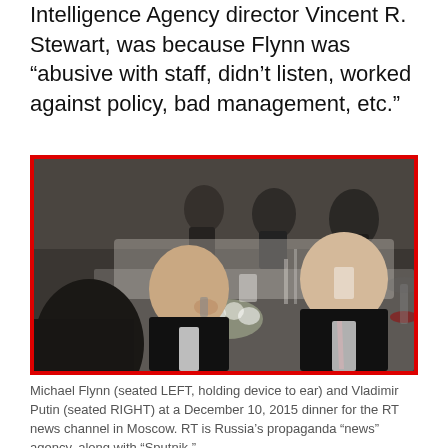Intelligence Agency director Vincent R. Stewart, was because Flynn was “abusive with staff, didn’t listen, worked against policy, bad management, etc.”
[Figure (photo): Michael Flynn (seated LEFT, holding device to ear) and Vladimir Putin (seated RIGHT) at a dinner table, surrounded by other attendees in formal attire at a gala event. The image has a thick red border.]
Michael Flynn (seated LEFT, holding device to ear) and Vladimir Putin (seated RIGHT) at a December 10, 2015 dinner for the RT news channel in Moscow. RT is Russia’s propaganda “news” agency, along with “Sputnik.”